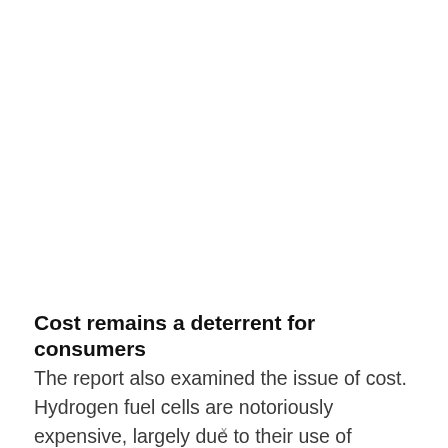Cost remains a deterrent for consumers
The report also examined the issue of cost. Hydrogen fuel cells are notoriously expensive, largely due to their use of